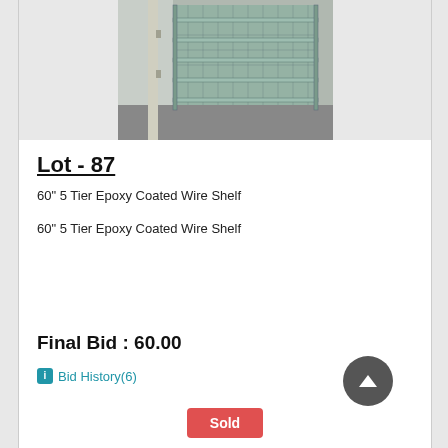[Figure (photo): Photo of a 60-inch 5-tier epoxy coated wire shelf unit, viewed from an angle showing multiple wire shelves in a storage unit setting]
Lot - 87
60" 5 Tier Epoxy Coated Wire Shelf
60" 5 Tier Epoxy Coated Wire Shelf
Final Bid : 60.00
Bid History(6)
Sold